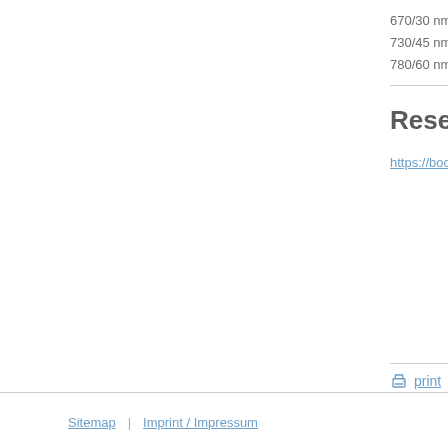670/30 nm - A
730/45 nm - A
780/60 nm - A
Reserva
https://bookin
print
Sitemap | Imprint / Impressum